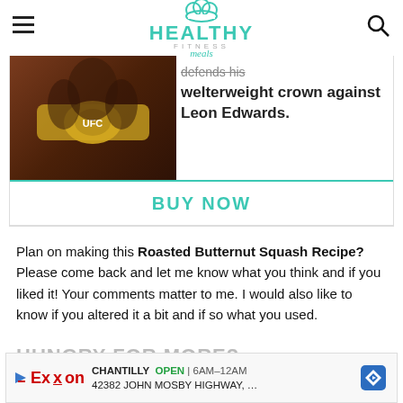HEALTHY FITNESS meals
[Figure (advertisement): UFC fighter defending welterweight crown against Leon Edwards - promotional image with BUY NOW button]
Plan on making this Roasted Butternut Squash Recipe? Please come back and let me know what you think and if you liked it! Your comments matter to me. I would also like to know if you altered it a bit and if so what you used.
HUNGRY FOR MORE?
Try th... any
[Figure (advertisement): Exxon Chantilly ad - OPEN 6AM-12AM, 42382 John Mosby Highway]